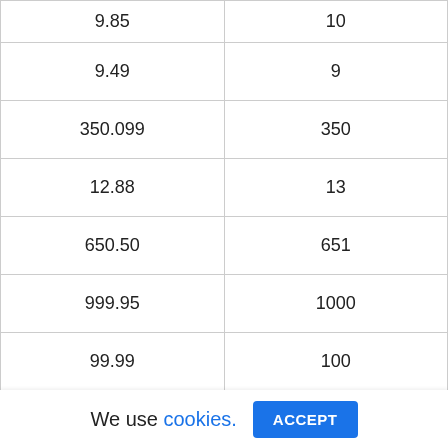| 9.85 | 10 |
| 9.49 | 9 |
| 350.099 | 350 |
| 12.88 | 13 |
| 650.50 | 651 |
| 999.95 | 1000 |
| 99.99 | 100 |
| 16.64 | 17 |
| ... | ... |
We use cookies. ACCEPT